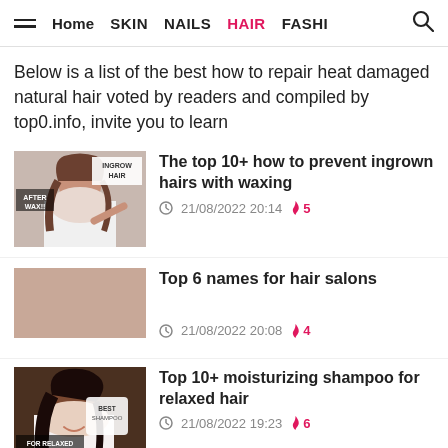Home  SKIN  NAILS  HAIR  FASHI
Below is a list of the best how to repair heat damaged natural hair voted by readers and compiled by top0.info, invite you to learn
The top 10+ how to prevent ingrown hairs with waxing — 21/08/2022 20:14 — 5
Top 6 names for hair salons — 21/08/2022 20:08 — 4
Top 10+ moisturizing shampoo for relaxed hair — 21/08/2022 19:23 — 6